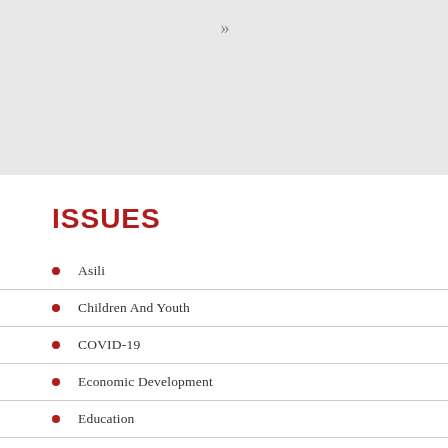[Figure (other): Gray header banner with double chevron >> symbol]
ISSUES
Asili
Children And Youth
COVID-19
Economic Development
Education
En Famille
Featured
Health
Justice